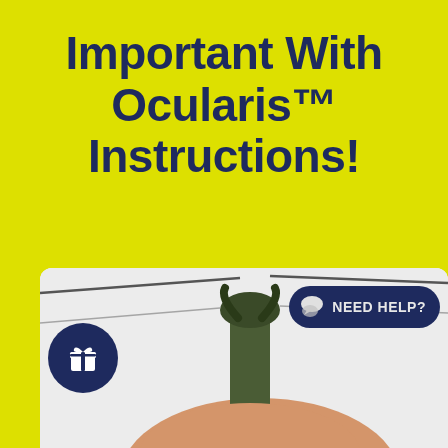Important With Ocularis™ Instructions!
[Figure (photo): Close-up photo of an Ocularis device connector/tip being held, with glasses wire frames visible. Includes a 'NEED HELP?' chat badge in dark navy and a gift icon circle in dark navy overlaid on the image.]